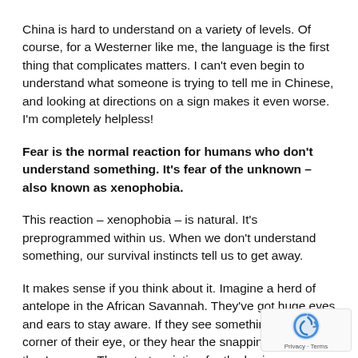China is hard to understand on a variety of levels. Of course, for a Westerner like me, the language is the first thing that complicates matters. I can't even begin to understand what someone is trying to tell me in Chinese, and looking at directions on a sign makes it even worse. I'm completely helpless!
Fear is the normal reaction for humans who don't understand something. It's fear of the unknown – also known as xenophobia.
This reaction – xenophobia – is natural. It's preprogrammed within us. When we don't understand something, our survival instincts tell us to get away.
It makes sense if you think about it. Imagine a herd of antelope in the African Savannah. They've got huge eyes and ears to stay aware. If they see something out of the corner of their eye, or they hear the snapping of a twig, they're gone. They start sprinting for the horizon.